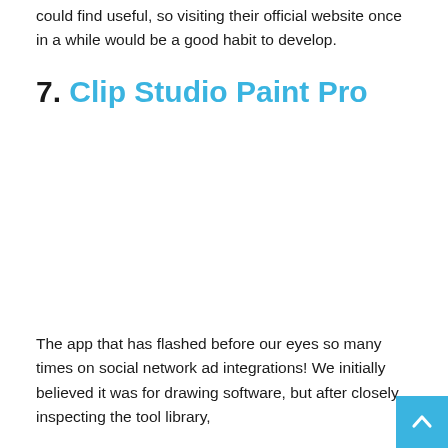could find useful, so visiting their official website once in a while would be a good habit to develop.
7. Clip Studio Paint Pro
[Figure (other): Large image placeholder area for Clip Studio Paint Pro screenshot or illustration]
The app that has flashed before our eyes so many times on social network ad integrations! We initially believed it was for drawing software, but after closely inspecting the tool library,